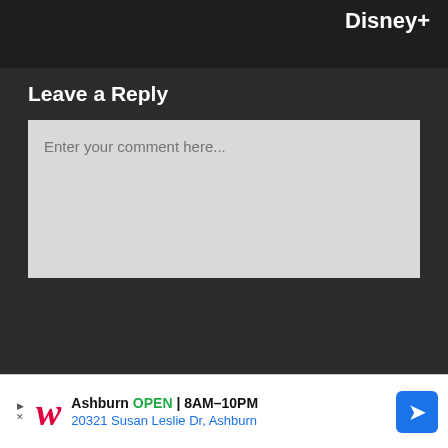Disney+
Leave a Reply
Enter your comment here...
[Figure (infographic): Walgreens advertisement banner: Ashburn OPEN 8AM-10PM, 20321 Susan Leslie Dr, Ashburn, with navigation arrow icon]